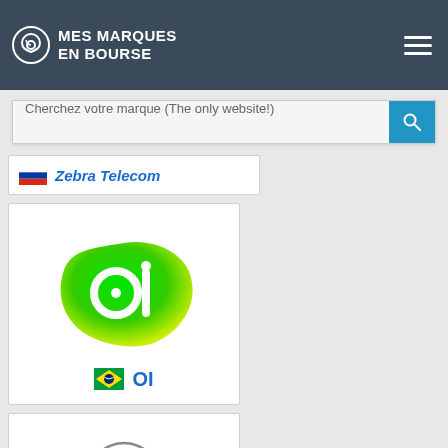MES MARQUES EN BOURSE
Cherchez votre marque (The only website!)
[Figure (logo): Zebra Telecom logo with Russian flag]
[Figure (logo): OI telecom logo - green blob shape with 'oi' text, Brazilian flag and OI brand name]
[Figure (logo): DERY telecom logo with arc above text, DERY in bold red and telecom in grey]